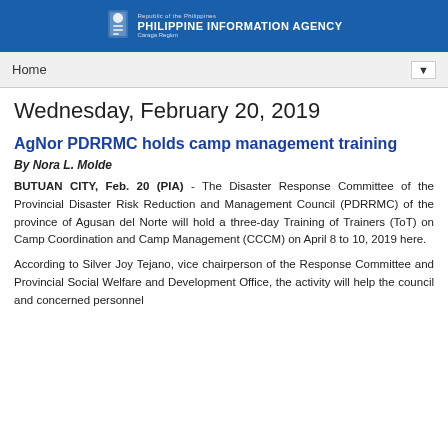Republic of the Philippines PHILIPPINE INFORMATION AGENCY Caraga Region
Wednesday, February 20, 2019
AgNor PDRRMC holds camp management training
By Nora L. Molde
BUTUAN CITY, Feb. 20 (PIA) - The Disaster Response Committee of the Provincial Disaster Risk Reduction and Management Council (PDRRMC) of the province of Agusan del Norte will hold a three-day Training of Trainers (ToT) on Camp Coordination and Camp Management (CCCM) on April 8 to 10, 2019 here.
According to Silver Joy Tejano, vice chairperson of the Response Committee and Provincial Social Welfare and Development Office, the activity will help the council and concerned personnel